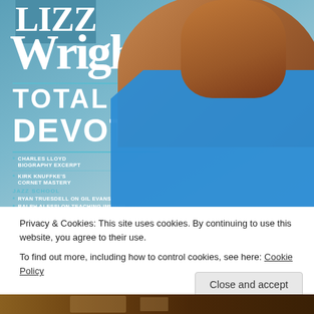[Figure (illustration): Magazine cover for Lizz Wright 'Total Devotion' with a woman in a blue dress on a teal/grey background. Cover lists: Charles Lloyd Biography Excerpt, Kirk Knuffke's Cornet Mastery, Jazz School section with Ryan Truesdell on Gil Evans, Ralph Alessi on Teaching Improv, Master Class by Antonio García, Rick Margitza Solo Transcribed.]
Privacy & Cookies: This site uses cookies. By continuing to use this website, you agree to their use.
To find out more, including how to control cookies, see here: Cookie Policy
Close and accept
[Figure (photo): Partial bottom strip showing what appears to be a musical instrument or performer.]